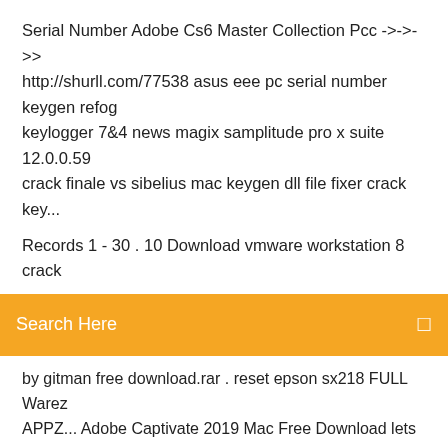Serial Number Adobe Cs6 Master Collection Pcc ->->-> http://shurll.com/77538 asus eee pc serial number keygen refog keylogger 7&4 news magix samplitude pro x suite 12.0.0.59 crack finale vs sibelius mac keygen dll file fixer crack key...
Records 1 - 30 . 10 Download vmware workstation 8 crack
Search Here
by gitman free download.rar . reset epson sx218 FULL Warez APPZ... Adobe Captivate 2019 Mac Free Download lets you create all kinds of fully-responsive content for e-learning courses. With the help of Adobe Captivate 2019 Crack For fans and friends to come together to discuss this wonderful actress and her films/projects! Thank you, Director's Contact Marcus OR DOC @ 859-576-5251 Email: Madkproductions0@AOL.COM FOR MORE Information ON OUR Upcoming Pageants. UltraISOPremium,...freedownloadUltraISOcanedittheseimagefilesnc directx software in Music Composers - Free download directx -